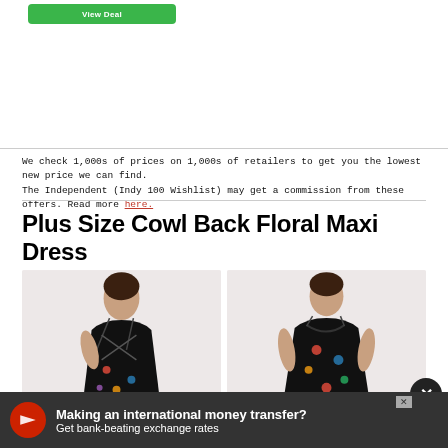[Figure (screenshot): Green 'View Deal' button at top of page]
We check 1,000s of prices on 1,000s of retailers to get you the lowest new price we can find. The Independent (Indy 100 Wishlist) may get a commission from these offers. Read more here.
Plus Size Cowl Back Floral Maxi Dress
[Figure (photo): Two photos of a model wearing a black floral maxi dress with cowl back and spaghetti straps. Left photo shows the back view, right photo shows the front view.]
[Figure (screenshot): Advertisement banner: Making an international money transfer? Get bank-beating exchange rates]